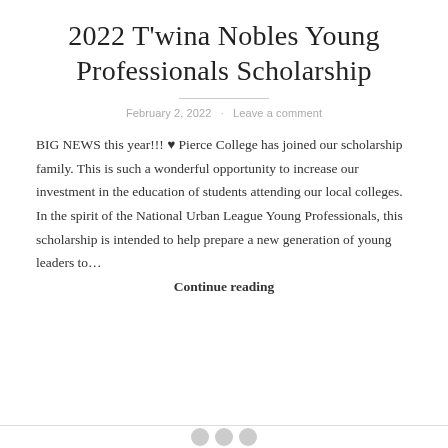2022 T'wina Nobles Young Professionals Scholarship
February 2, 2022   Leave a comment
BIG NEWS this year!!! ♥ Pierce College has joined our scholarship family. This is such a wonderful opportunity to increase our investment in the education of students attending our local colleges. In the spirit of the National Urban League Young Professionals, this scholarship is intended to help prepare a new generation of young leaders to…
Continue reading